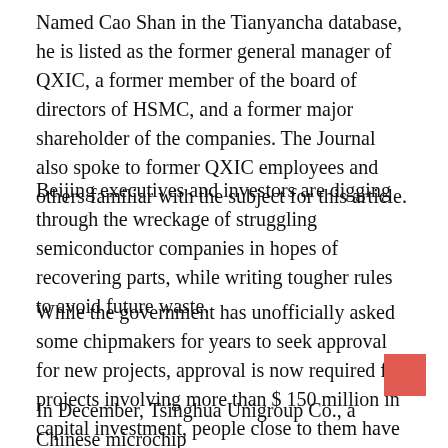Named Cao Shan in the Tianyancha database, he is listed as the former general manager of QXIC, a former member of the board of directors of HSMC, and a former major shareholder of the companies. The Journal also spoke to former QXIC employees and others familiar with the subject for this article.
Beijing executives and investors are digging through the wreckage of struggling semiconductor companies in hopes of recovering parts, while writing tougher rules to avoid future waste.
While the government has unofficially asked some chipmakers for years to seek approval for new projects, approval is now required for projects involving more than $ 150 million in capital investment, people close to them have said. folder.
In December, Tsinghua Unigroup Co., a Chinese microchip conglomerate that has defaulted on billions of dollars in bonds